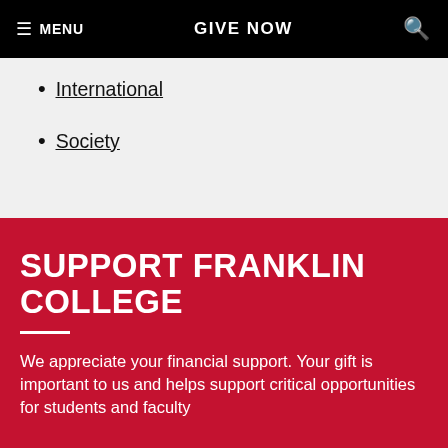MENU  GIVE NOW  🔍
International
Society
SUPPORT FRANKLIN COLLEGE
We appreciate your financial support. Your gift is important to us and helps support critical opportunities for students and faculty